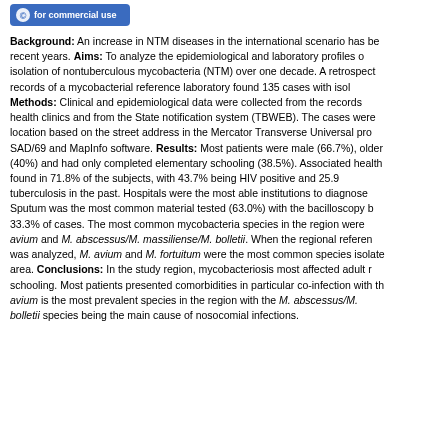[Figure (logo): Blue badge/button with text 'for commercial use']
Background: An increase in NTM diseases in the international scenario has been reported in recent years. Aims: To analyze the epidemiological and laboratory profiles of cases with isolation of nontuberculous mycobacteria (NTM) over one decade. A retrospective review of records of a mycobacterial reference laboratory found 135 cases with isol... Methods: Clinical and epidemiological data were collected from the records of outpatient health clinics and from the State notification system (TBWEB). The cases were geo-referenced location based on the street address in the Mercator Transverse Universal projection using SAD/69 and MapInfo software. Results: Most patients were male (66.7%), older... (40%) and had only completed elementary schooling (38.5%). Associated health conditions were found in 71.8% of the subjects, with 43.7% being HIV positive and 25.9% having had tuberculosis in the past. Hospitals were the most able institutions to diagnose cases... Sputum was the most common material tested (63.0%) with the bacilloscopy being negative in 33.3% of cases. The most common mycobacteria species in the region were M. avium and M. abscessus/M. massiliense/M. bolletii. When the regional reference was analyzed, M. avium and M. fortuitum were the most common species isolated in the area. Conclusions: In the study region, mycobacteriosis most affected adult males with low schooling. Most patients presented comorbidities in particular co-infection with the... M. avium is the most prevalent species in the region with the M. abscessus/M. bolletii species being the main cause of nosocomial infections.